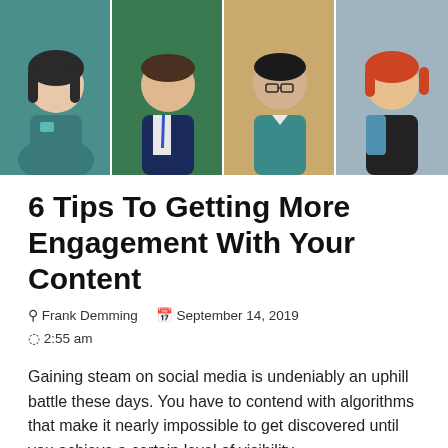[Figure (illustration): Four illustrated avatar figures side by side on colored backgrounds: a woman with dark hair on teal, a man in suit with blue tie on green, a person with glasses on tan/orange, and a woman with red hair on gray-blue.]
6 Tips To Getting More Engagement With Your Content
© Frank Demming   🗓 September 14, 2019
© 2:55 am
Gaining steam on social media is undeniably an uphill battle these days. You have to contend with algorithms that make it nearly impossible to get discovered until you achieve a certain level of visibility.
hind the fact that social media elmingly prefers silly or opinionated content —two things that really don't gel with the average